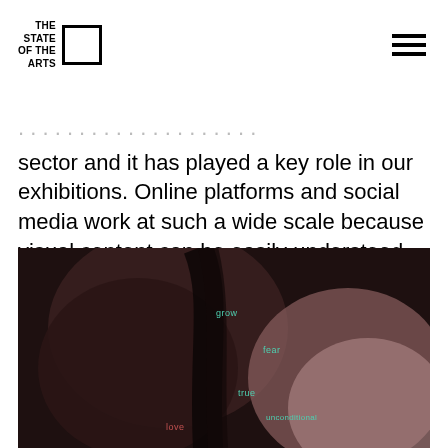THE STATE OF THE ARTS [logo with square]
sector and it has played a key role in our exhibitions. Online platforms and social media work at such a wide scale because visual content can be easily understood and shared around the world, without having such a need to interpret, translate or contextualize it.
[Figure (photo): Abstract close-up photograph of human forms/skin in dark tones with overlaid words in teal/green: 'grow', 'fear', 'true', 'unconditional' and in red: 'love']